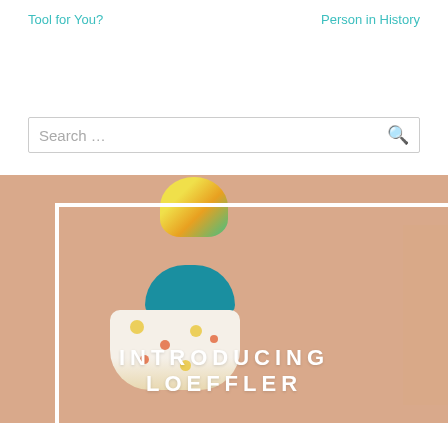Tool for You?   Person in History
Search ...
[Figure (photo): Fashion photo of a woman wearing a floral head wrap and teal bikini top with a floral skirt, posed against a peach/salmon background. Overlaid white border frame. Text reads INTRODUCING LOEFFLER in large white bold letters at the bottom.]